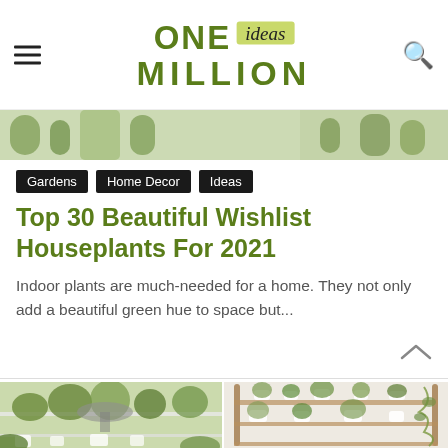ONE ideas MILLION
[Figure (photo): Partial view of indoor houseplant photo at top of page]
Gardens
Home Decor
Ideas
Top 30 Beautiful Wishlist Houseplants For 2021
Indoor plants are much-needed for a home. They not only add a beautiful green hue to space but...
[Figure (photo): Two side-by-side photos of indoor plants — left shows a desk workspace with many houseplants on shelves, right shows a wooden shelf unit with potted plants in white pots]